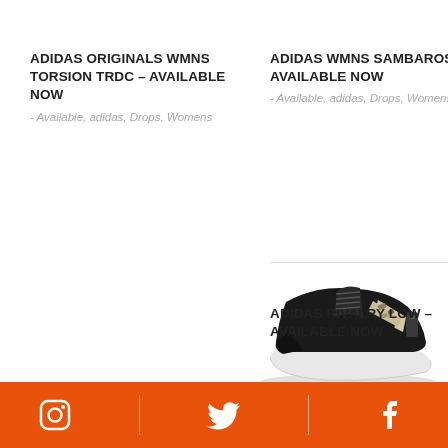ADIDAS ORIGINALS WMNS TORSION TRDC – AVAILABLE NOW
- Available, adidas, Drops, Womens
ADIDAS WMNS SAMBAROSE – AVAILABLE NOW
- Available, adidas, Drops, Womens
[Figure (photo): Black Adidas Rivalry Low sneaker with camouflage three stripes and white sole]
ADIDAS RIVALRY LOW – AVAILABLE NOW
Instagram | Twitter | Facebook social icons on orange bar